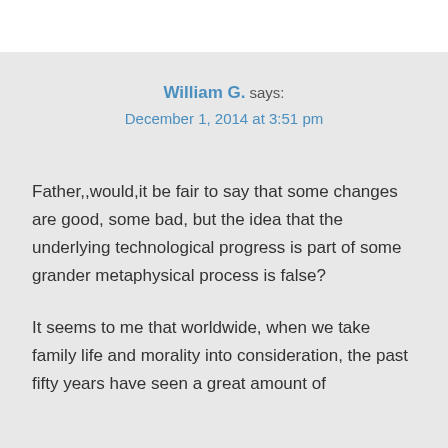William G. says:
December 1, 2014 at 3:51 pm
Father,,would,it be fair to say that some changes are good, some bad, but the idea that the underlying technological progress is part of some grander metaphysical process is false?
It seems to me that worldwide, when we take family life and morality into consideration, the past fifty years have seen a great amount of regress and even our technological progress has